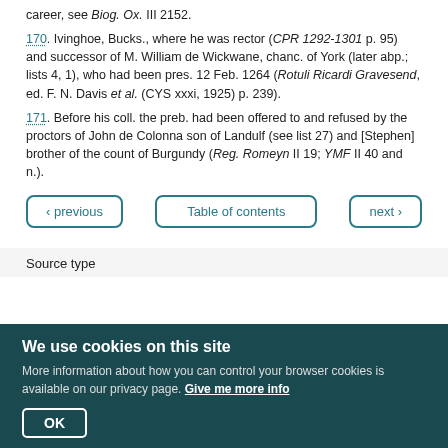career, see Biog. Ox. III 2152.
170. Ivinghoe, Bucks., where he was rector (CPR 1292-1301 p. 95) and successor of M. William de Wickwane, chanc. of York (later abp.; lists 4, 1), who had been pres. 12 Feb. 1264 (Rotuli Ricardi Gravesend, ed. F. N. Davis et al. (CYS xxxi, 1925) p. 239).
171. Before his coll. the preb. had been offered to and refused by the proctors of John de Colonna son of Landulf (see list 27) and [Stephen] brother of the count of Burgundy (Reg. Romeyn II 19; YMF II 40 and n.).
‹ previous
Table of contents
next ›
Source type
We use cookies on this site
More information about how you can control your browser cookies is available on our privacy page. Give me more info
OK